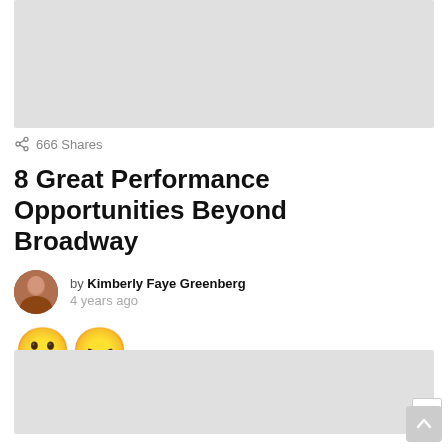[Figure (photo): Gray placeholder image block at top of article]
666 Shares
8 Great Performance Opportunities Beyond Broadway
by Kimberly Faye Greenberg
4 years ago
[Figure (illustration): Two emoji reactions: wide-eyed face and angry face]
[Figure (photo): Gray placeholder advertisement block with X close button]